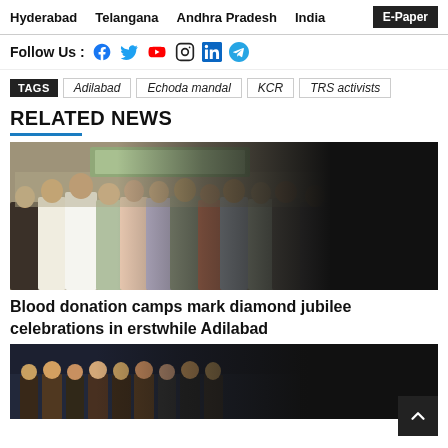Hyderabad   Telangana   Andhra Pradesh   India   E-Paper
Follow Us : [social icons: Facebook, Twitter, YouTube, Instagram, LinkedIn, Telegram]
TAGS  Adilabad  Echoda mandal  KCR  TRS activists
RELATED NEWS
[Figure (photo): Group photo of officials and attendees at a blood donation camp event in Adilabad, including police officers and citizens]
Blood donation camps mark diamond jubilee celebrations in erstwhile Adilabad
[Figure (photo): Group of people at an event, partially visible, dark background]